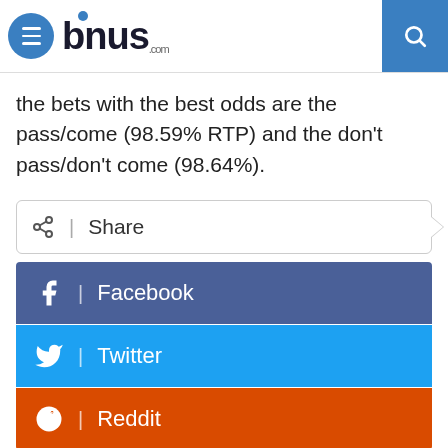bonus.com
the bets with the best odds are the pass/come (98.59% RTP) and the don't pass/don't come (98.64%).
[Figure (infographic): Share bar with social media buttons: Facebook, Twitter, Reddit]
About the Author
[Figure (photo): Author photo thumbnail showing a person outdoors]